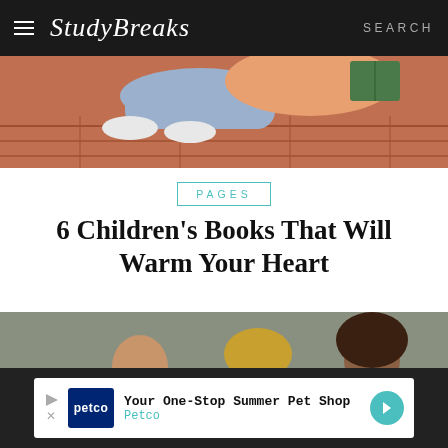Study Breaks — SEARCH
[Figure (illustration): Illustration of a person lying on a sofa reading a book, shown from the waist down, with blue jeans and white shoes, on a brown wooden floor background]
PAGES
6 Children's Books That Will Warm Your Heart
[Figure (photo): Photo of three people against a gray-green background: a person on the left holding a white object, a person with long blonde hair in center, and a person with curly hair wearing a white jacket on the right]
Your One-Stop Summer Pet Shop — Petco